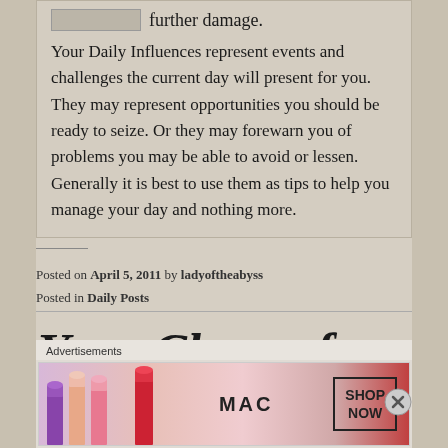further damage.
Your Daily Influences represent events and challenges the current day will present for you. They may represent opportunities you should be ready to seize. Or they may forewarn you of problems you may be able to avoid or lessen. Generally it is best to use them as tips to help you manage your day and nothing more.
Posted on April 5, 2011 by ladyoftheabyss
Posted in Daily Posts
Your Charm for 4/5
[Figure (other): MAC cosmetics advertisement banner showing colourful lipsticks with MAC logo and SHOP NOW box]